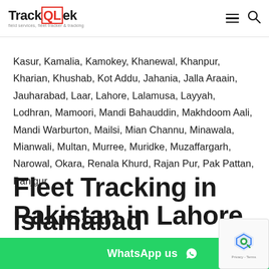TrackQLek | field services, fleet tracker & tracking
Kasur, Kamalia, Kamokey, Khanewal, Khanpur, Kharian, Khushab, Kot Addu, Jahania, Jalla Araain, Jauharabad, Laar, Lahore, Lalamusa, Layyah, Lodhran, Mamoori, Mandi Bahauddin, Makhdoom Aali, Mandi Warburton, Mailsi, Mian Channu, Minawala, Mianwali, Multan, Murree, Muridke, Muzaffargarh, Narowal, Okara, Renala Khurd, Rajan Pur, Pak Pattan, Panjgur
Fleet Tracking in Pakistan in Lahore Karachi Islamabad